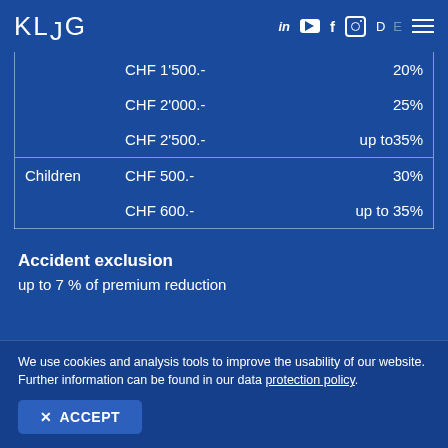KLUG — navigation with social icons (LinkedIn, YouTube, Facebook, Instagram), language toggle D / E, hamburger menu
|  | Amount | Discount |
| --- | --- | --- |
|  | CHF 1'500.- | 20% |
|  | CHF 2'000.- | 25% |
|  | CHF 2'500.- | up to35% |
| Children | CHF 500.- | 30% |
|  | CHF 600.- | up to 35% |
Accident exclusion
up to 7 % of premium reduction
We use cookies and analysis tools to improve the usability of our website. Further information can be found in our data protection policy.